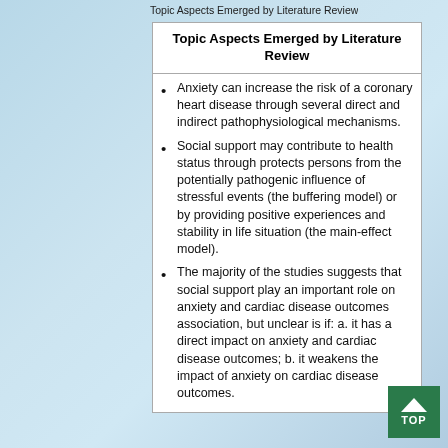Topic Aspects Emerged by Literature Review
| Topic Aspects Emerged by Literature Review |
| --- |
| Anxiety can increase the risk of a coronary heart disease through several direct and indirect pathophysiological mechanisms. |
| Social support may contribute to health status through protects persons from the potentially pathogenic influence of stressful events (the buffering model) or by providing positive experiences and stability in life situation (the main-effect model). |
| The majority of the studies suggests that social support play an important role on anxiety and cardiac disease outcomes association, but unclear is if: a. it has a direct impact on anxiety and cardiac disease outcomes; b. it weakens the impact of anxiety on cardiac disease outcomes. |